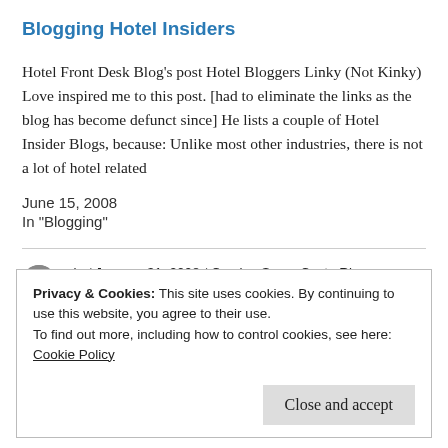Blogging Hotel Insiders
Hotel Front Desk Blog's post Hotel Bloggers Linky (Not Kinky) Love inspired me to this post. [had to eliminate the links as the blog has become defunct since] He lists a couple of Hotel Insider Blogs, because: Unlike most other industries, there is not a lot of hotel related
June 15, 2008
In "Blogging"
gje / January 31, 2008 / Coming Soon, Costa Rica, Design, France, Hotel Design, Hotels, Paris, Spain, USA
Privacy & Cookies: This site uses cookies. By continuing to use this website, you agree to their use.
To find out more, including how to control cookies, see here:
Cookie Policy
Close and accept